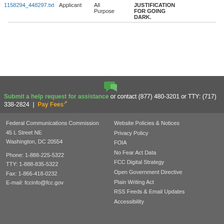| File | Filed By | Purpose | Description |
| --- | --- | --- | --- |
| 1158294_448297.txt | Applicant | All Purpose | JUSTIFICATION FOR GOING DARK. |
Submit a help request for assistance or contact (877) 480-3201 or TTY: (717) 338-2824 | Pay Fees
Federal Communications Commission
45 L Street NE
Washington, DC 20554

Phone: 1-888-225-5322
TTY: 1-888-835-5322
Fax: 1-866-418-0232
E-mail: fccinfo@fcc.gov
Website Policies & Notices
Privacy Policy
FOIA
No Fear Act Data
FCC Digital Strategy
Open Government Directive
Plain Writing Act
RSS Feeds & Email Updates
Accessibility